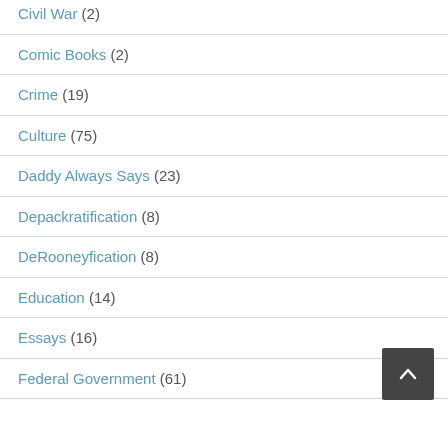Civil War (2)
Comic Books (2)
Crime (19)
Culture (75)
Daddy Always Says (23)
Depackratification (8)
DeRooneyfication (8)
Education (14)
Essays (16)
Federal Government (61)